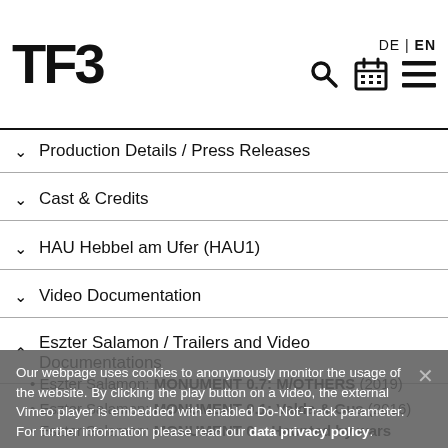TFB — DE | EN
Production Details / Press Releases
Cast & Credits
HAU Hebbel am Ufer (HAU1)
Video Documentation
Eszter Salamon / Trailers and Video Documentations
Eszter Salamon: MONUMENT 0.7: M/OTHERS (2019)
Eszter Salamon: MONUMENT 0.1: Valda & Gus (2016)
Eszter Salamon: MONUMENT 0 – Haunted by wars (2012-2015)
Eszter Salamon: Melodrama (2012)
Our webpage uses cookies to anonymously monitor the usage of the website. By clicking the play button on a video, the external Vimeo player is embedded with enabled Do-Not-Track parameter. For further information please read our data privacy policy.